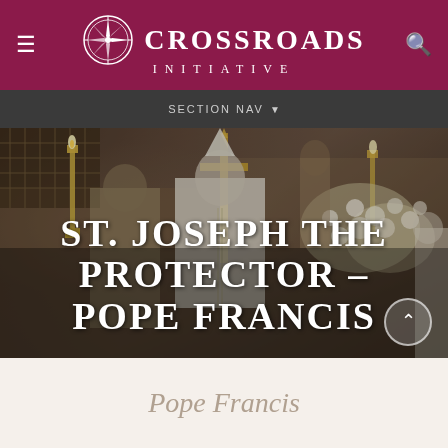Crossroads Initiative
SECTION NAV
[Figure (photo): Pope Francis in white vestments and mitre at an outdoor Mass, flanked by candles and flowers at an ornate altar, with a large cross visible]
ST. JOSEPH THE PROTECTOR – POPE FRANCIS
Pope Francis